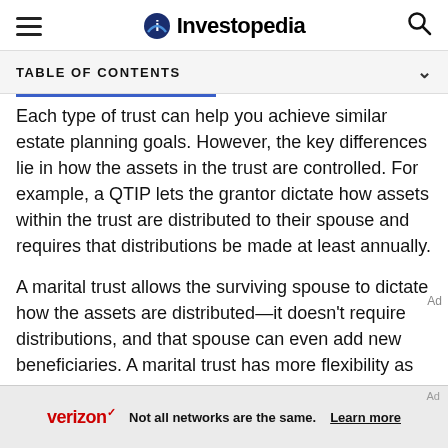Investopedia
TABLE OF CONTENTS
Each type of trust can help you achieve similar estate planning goals. However, the key differences lie in how the assets in the trust are controlled. For example, a QTIP lets the grantor dictate how assets within the trust are distributed to their spouse and requires that distributions be made at least annually.
A marital trust allows the surviving spouse to dictate how the assets are distributed—it doesn't require distributions, and that spouse can even add new beneficiaries. A marital trust has more flexibility as this type does not require the surviving spouse to take
[Figure (other): Verizon advertisement banner: logo, text 'Not all networks are the same.' and 'Learn more' link]